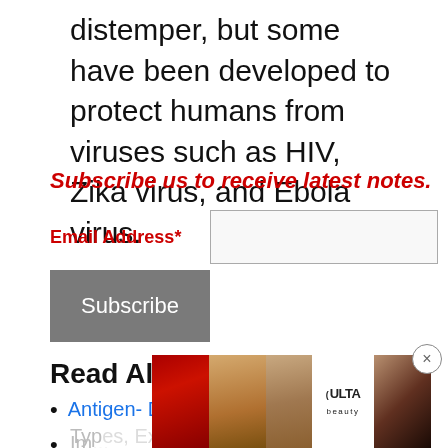distemper, but some have been developed to protect humans from viruses such as HIV, Zika virus, and Ebola virus.
Subscribe us to receive latest notes.
Email Address*
Subscribe
Read Also:
Antigen- Definition, Properties, Structure,
Types, Examples
Im...
Factors, Examples
[Figure (photo): ULTA beauty advertisement banner with lipstick, makeup brush, eye makeup, ULTA logo, and SHOP NOW button]